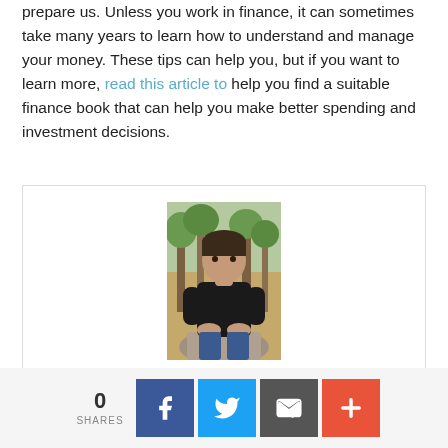prepare us. Unless you work in finance, it can sometimes take many years to learn how to understand and manage your money. These tips can help you, but if you want to learn more, read this article to help you find a suitable finance book that can help you make better spending and investment decisions.
[Figure (photo): Portrait photo of a man wearing a black t-shirt, sitting on a rock in an outdoor wooded setting]